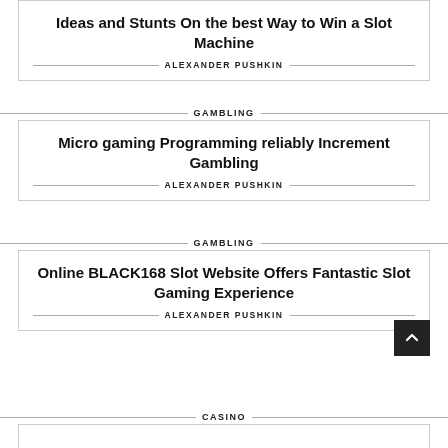Ideas and Stunts On the best Way to Win a Slot Machine
ALEXANDER PUSHKIN
GAMBLING
Micro gaming Programming reliably Increment Gambling
ALEXANDER PUSHKIN
GAMBLING
Online BLACK168 Slot Website Offers Fantastic Slot Gaming Experience
ALEXANDER PUSHKIN
CASINO